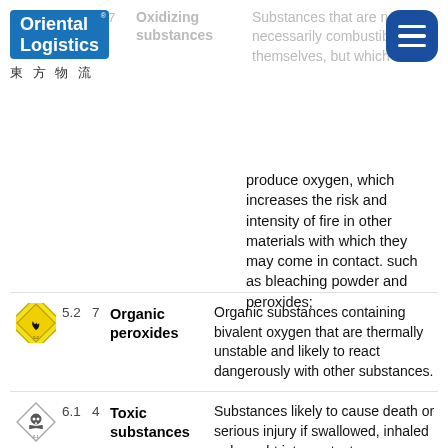[Figure (logo): Oriental Logistics logo with Chinese text 東方物流]
7   Oxidizing substances   Substances that are not necessarily combustible by themselves, but which produce oxygen, which increases the risk and intensity of fire in other materials with which they may come in contact. such as bleaching powder and peroxides;
| Icon | Class | Priority | Name | Description |
| --- | --- | --- | --- | --- |
| [organic peroxides diamond] | 5.2 | 7 | Organic peroxides | Organic substances containing bivalent oxygen that are thermally unstable and likely to react dangerously with other substances. |
| [toxic substances diamond] | 6.1 | 4 | Toxic substances | Substances likely to cause death or serious injury if swallowed, inhaled or brought into contact |